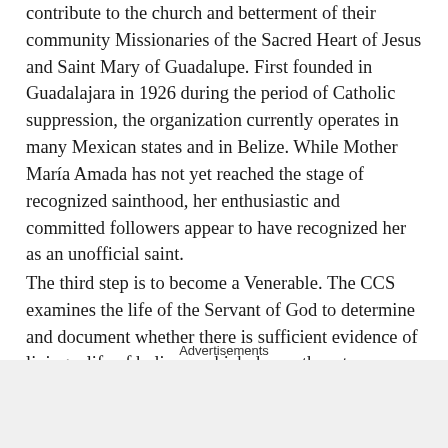contribute to the church and betterment of their community Missionaries of the Sacred Heart of Jesus and Saint Mary of Guadalupe. First founded in Guadalajara in 1926 during the period of Catholic suppression, the organization currently operates in many Mexican states and in Belize. While Mother María Amada has not yet reached the stage of recognized sainthood, her enthusiastic and committed followers appear to have recognized her as an unofficial saint.
The third step is to become a Venerable. The CCS examines the life of the Servant of God to determine and document whether there is sufficient evidence of living a life of holiness which drew others to prayer and participation in the church, including whether miracles have been attributed to the Servant before or after their death. Once the CCS completes their investigation, the documents are sent to the Pope. The
Advertisements